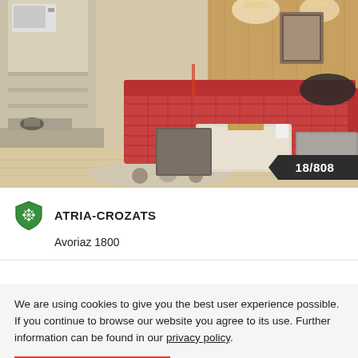[Figure (photo): Interior photo of an apartment room with red plaid sofa/couch, light wood paneling on walls, light wood flooring, small coffee table, kitchen area visible in background, modern furnishings.]
18/808
ATRIA-CROZATS
Avoriaz 1800
We are using cookies to give you the best user experience possible. If you continue to browse our website you agree to its use. Further information can be found in our privacy policy.
ACCEPT COOKIES